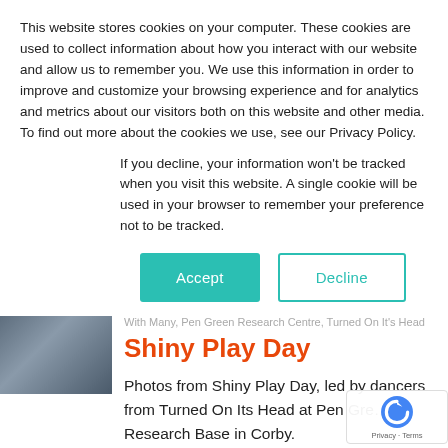This website stores cookies on your computer. These cookies are used to collect information about how you interact with our website and allow us to remember you. We use this information in order to improve and customize your browsing experience and for analytics and metrics about our visitors both on this website and other media. To find out more about the cookies we use, see our Privacy Policy.
If you decline, your information won't be tracked when you visit this website. A single cookie will be used in your browser to remember your preference not to be tracked.
Accept | Decline
[Figure (photo): Thumbnail image of animals or people, partially visible on left side]
With Many, Pen Green Research Centre, Turned On It's Head
Shiny Play Day
Photos from Shiny Play Day, led by dancers from Turned On Its Head at Pen Green Research Base in Corby.